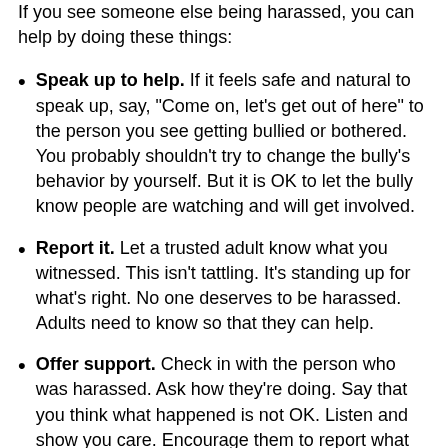If you see someone else being harassed, you can help by doing these things:
Speak up to help. If it feels safe and natural to speak up, say, "Come on, let's get out of here" to the person you see getting bullied or bothered. You probably shouldn't try to change the bully's behavior by yourself. But it is OK to let the bully know people are watching and will get involved.
Report it. Let a trusted adult know what you witnessed. This isn't tattling. It's standing up for what's right. No one deserves to be harassed. Adults need to know so that they can help.
Offer support. Check in with the person who was harassed. Ask how they're doing. Say that you think what happened is not OK. Listen and show you care. Encourage them to report what